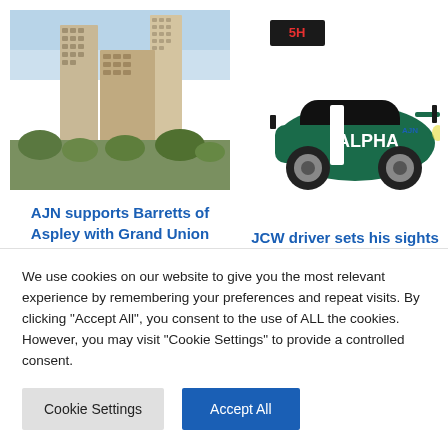[Figure (photo): Aerial/perspective view of large modern residential apartment buildings (Grand Union development) with landscaping and trees in the foreground]
[Figure (photo): Racing car with green and black ALPHA livery and a 5H racing logo above it]
AJN supports Barretts of Aspley with Grand Union project
JCW driver sets his sights on pole position
We use cookies on our website to give you the most relevant experience by remembering your preferences and repeat visits. By clicking "Accept All", you consent to the use of ALL the cookies. However, you may visit "Cookie Settings" to provide a controlled consent.